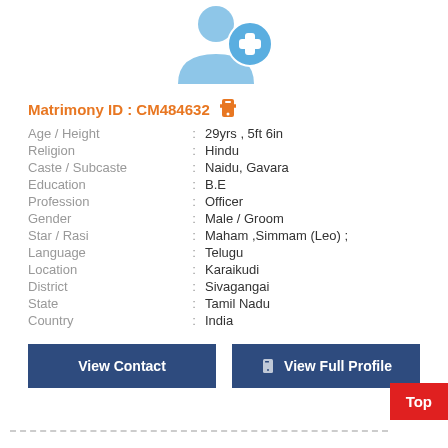[Figure (illustration): User profile placeholder icon with a blue silhouette and a blue circle with a white plus sign]
Matrimony ID : CM484632
| Field | : | Value |
| --- | --- | --- |
| Age / Height | : | 29yrs , 5ft 6in |
| Religion | : | Hindu |
| Caste / Subcaste | : | Naidu, Gavara |
| Education | : | B.E |
| Profession | : | Officer |
| Gender | : | Male / Groom |
| Star / Rasi | : | Maham ,Simmam (Leo) ; |
| Language | : | Telugu |
| Location | : | Karaikudi |
| District | : | Sivagangai |
| State | : | Tamil Nadu |
| Country | : | India |
View Contact
View Full Profile
Top